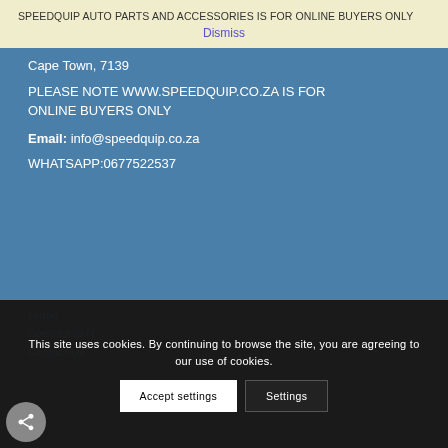SPEEDQUIP
SPEEDQUIP AUTO PARTS AND ACCESSORIES IS FOR ONLINE BUYERS ONLY
Dismiss
Cape Town, 7139
PLEASE NOTE WWW.SPEEDQUIP.CO.ZA IS FOR ONLINE BUYERS ONLY
Email: info@speedquip.co.za
WHATSAPP:0677522537
This site uses cookies. By continuing to browse the site, you are agreeing to our use of cookies.
Home
Speedquip N...
Contact Us